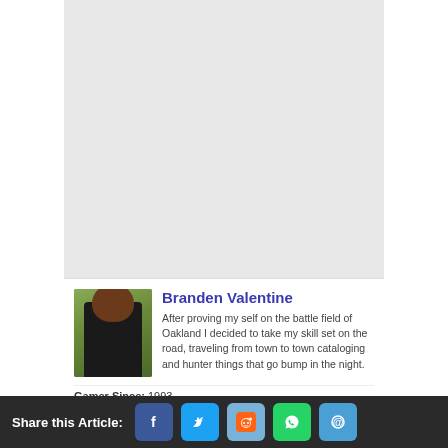[Figure (photo): Gray placeholder/advertisement area]
[Figure (photo): Author profile photo of Branden Valentine, a man with beard in black shirt against green foliage background]
Branden Valentine
After proving my self on the battle field of Oakland I decided to take my skill set on the road, traveling from town to town cataloging and hunter things that go bump in the night.
Gamer Since: 1993
Favorite Genre: RPG
Share this Article: